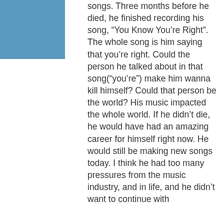[Figure (illustration): Blue rectangle in the upper left corner of the page]
songs. Three months before he died, he finished recording his song, “You Know You’re Right”. The whole song is him saying that you’re right. Could the person he talked about in that song(“you’re”) make him wanna kill himself? Could that person be the world? His music impacted the whole world. If he didn’t die, he would have had an amazing career for himself right now. He would still be making new songs today. I think he had too many pressures from the music industry, and in life, and he didn’t want to continue with